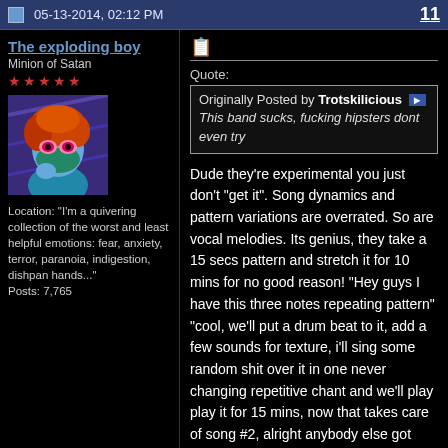05-13-2014, 02:12 PM | 11
The exploding boy
Minion of Satan
★★★★★
[Figure (illustration): Avatar image of a cartoon character with red hair, pink glasses, and a blue/teal face covering, on a purple background]
Location: "I'm a quivering collection of the worst and least helpful emotions: fear, anxiety, terror, paranoia, indigestion, dishpan hands..."
Posts: 7,765
Quote:
Originally Posted by Trotskilicious
This band sucks, fucking hipsters dont even try
Dude they're experimental you just don't "get it". Song dynamics and pattern variations are overrated. So are vocal melodies. Its genius, they take a 15 secs pattern and stretch it for 10 mins for no good reason! "Hey guys I have this three notes repeating pattern" "cool, we'll put a drum beat to it, add a few sounds for texture, i'll sing some random shit over it in one never changing repetitive chant and we'll play play it for 15 mins, now that takes care of song #2, alright anybody else got something?"
I like that they thought their repetitive shit warranted a 2 hours record though. Not self indulgent